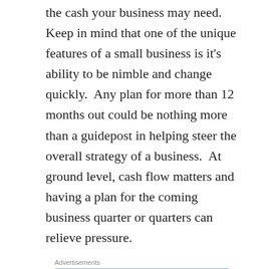the cash your business may need.  Keep in mind that one of the unique features of a small business is it's ability to be nimble and change quickly.  Any plan for more than 12 months out could be nothing more than a guidepost in helping steer the overall strategy of a business.  At ground level, cash flow matters and having a plan for the coming business quarter or quarters can relieve pressure.
[Figure (other): Advertisement banner for Day One journaling app with light blue background, icons of a door, person, and journal, and the text 'The only journaling app you'll ever need.']
Here is a checklist of simple questions that you can ask to determine what cash will be needed and then formulate a plan for making sure that you can fund the answers that result from the questions: